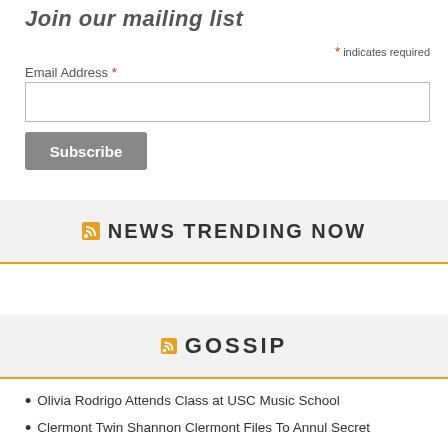Join our mailing list
* indicates required
Email Address *
Subscribe
NEWS TRENDING NOW
GOSSIP
Olivia Rodrigo Attends Class at USC Music School
Clermont Twin Shannon Clermont Files To Annul Secret